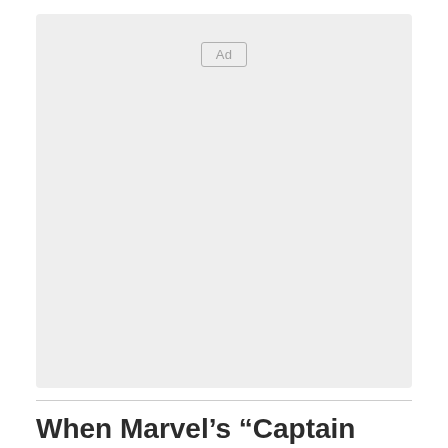[Figure (other): Advertisement placeholder box with 'Ad' label in the center-top area]
When Marvel’s “Captain America: Civil War”